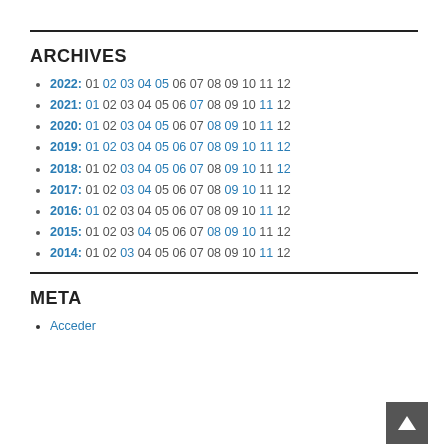ARCHIVES
2022: 01 02 03 04 05 06 07 08 09 10 11 12
2021: 01 02 03 04 05 06 07 08 09 10 11 12
2020: 01 02 03 04 05 06 07 08 09 10 11 12
2019: 01 02 03 04 05 06 07 08 09 10 11 12
2018: 01 02 03 04 05 06 07 08 09 10 11 12
2017: 01 02 03 04 05 06 07 08 09 10 11 12
2016: 01 02 03 04 05 06 07 08 09 10 11 12
2015: 01 02 03 04 05 06 07 08 09 10 11 12
2014: 01 02 03 04 05 06 07 08 09 10 11 12
META
Acceder